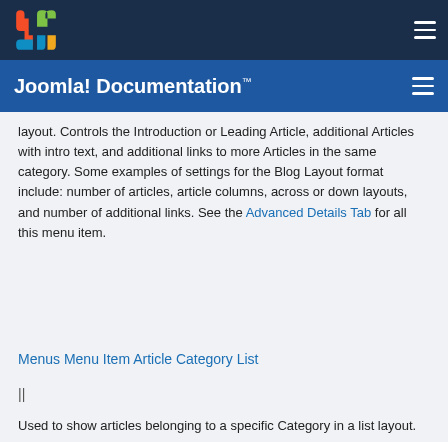Joomla! Documentation™
layout. Controls the Introduction or Leading Article, additional Articles with intro text, and additional links to more Articles in the same category. Some examples of settings for the Blog Layout format include: number of articles, article columns, across or down layouts, and number of additional links. See the Advanced Details Tab for all this menu item.
Menus Menu Item Article Category List
||
Used to show articles belonging to a specific Category in a list layout.